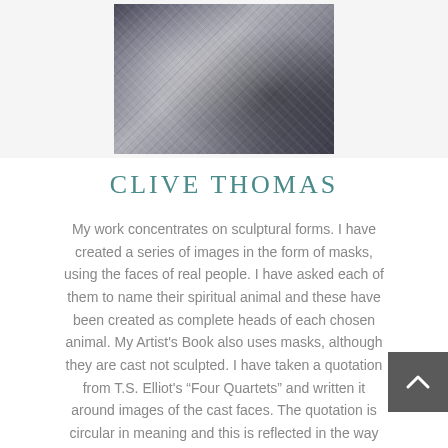[Figure (photo): Photograph of sculptural masks or textured artwork pieces displayed against a white background, showing dark textured forms.]
Clive Thomas
My work concentrates on sculptural forms. I have created a series of images in the form of masks, using the faces of real people. I have asked each of them to name their spiritual animal and these have been created as complete heads of each chosen animal. My Artist's Book also uses masks, although they are cast not sculpted. I have taken a quotation from T.S. Elliot's “Four Quartets” and written it around images of the cast faces. The quotation is circular in meaning and this is reflected in the way it’s written and the masks are hung.